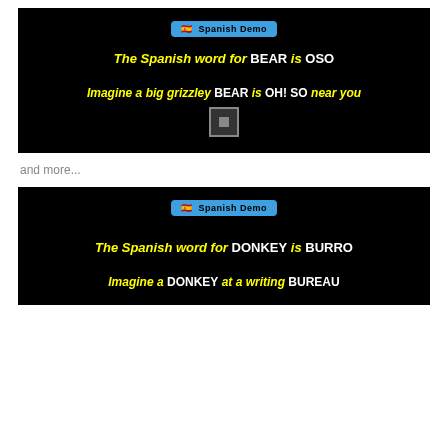[Figure (screenshot): Screenshot of a Spanish language learning app showing a black background with a 'Spanish Demo' badge at top, yellow bold text 'The Spanish word for BEAR is OSO', yellow bold text 'Imagine a big grizzley BEAR is OH! SO near you', and a small video play button icon.]
and more...
[Figure (screenshot): Screenshot of a Spanish language learning app showing a black background with a 'Spanish Demo' badge at top, yellow bold text 'The Spanish word for DONKEY is BURRO', yellow bold text 'Imagine a DONKEY at a writing BUREAU'.]